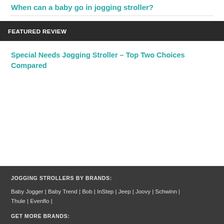When can a baby go in jogging stroller?
FEATURED REVIEW
Special Needs Jogging Stroller – Top Two Choices Compared
JOGGING STROLLERS BY BRANDS:
Baby Jogger | Baby Trend | Bob | InStep | Jeep | Joovy | Schwinn | Thule | Evenflo |
GET MORE BRANDS: